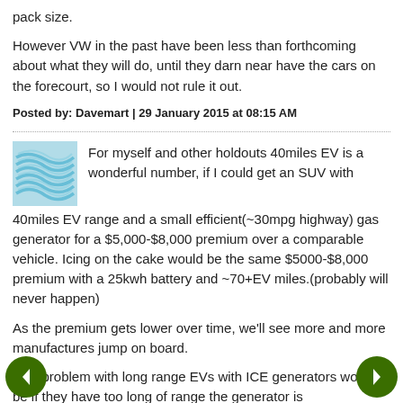pack size.
However VW in the past have been less than forthcoming about what they will do, until they darn near have the cars on the forecourt, so I would not rule it out.
Posted by: Davemart | 29 January 2015 at 08:15 AM
[Figure (illustration): Blue wavy lines avatar/icon for a commenter]
For myself and other holdouts 40miles EV is a wonderful number, if I could get an SUV with 40miles EV range and a small efficient(~30mpg highway) gas generator for a $5,000-$8,000 premium over a comparable vehicle. Icing on the cake would be the same $5000-$8,000 premium with a 25kwh battery and ~70+EV miles.(probably will never happen)
As the premium gets lower over time, we'll see more and more manufactures jump on board.
One problem with long range EVs with ICE generators would be if they have too long of range the generator is